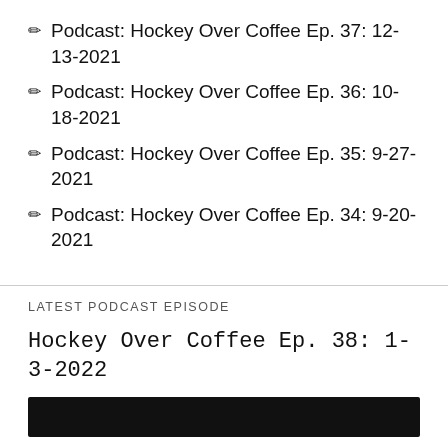Podcast: Hockey Over Coffee Ep. 37: 12-13-2021
Podcast: Hockey Over Coffee Ep. 36: 10-18-2021
Podcast: Hockey Over Coffee Ep. 35: 9-27-2021
Podcast: Hockey Over Coffee Ep. 34: 9-20-2021
LATEST PODCAST EPISODE
Hockey Over Coffee Ep. 38: 1-3-2022
[Figure (other): Black media player bar at the bottom of the page]